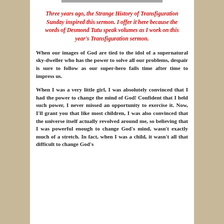Three years ago, the Strange History of Transfiguration Sunday inspired this sermon. I offer it here because the words of Desmond Tutu speak volumes as I work on this year's Transfiguration sermon.
When our images of God are tied to the idol of a supernatural sky-dweller who has the power to solve all our problems, despair is sure to follow as our super-hero fails time after time to impress us.
When I was a very little girl, I was absolutely convinced that I had the power to change the mind of God! Confident that I held such power, I never missed an opportunity to exercise it. Now, I'll grant you that like most children, I was also convinced that the universe itself actually revolved around me, so believing that I was powerful enough to change God's mind, wasn't exactly much of a stretch. In fact, when I was a child, it wasn't all that difficult to change God's